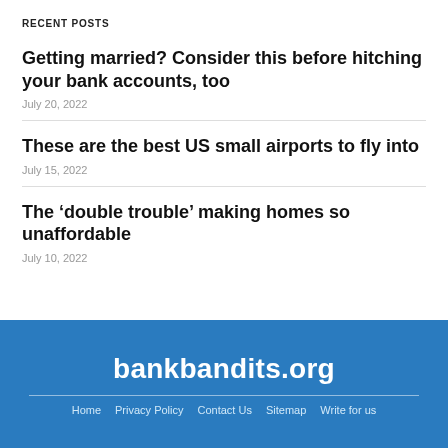RECENT POSTS
Getting married? Consider this before hitching your bank accounts, too
July 20, 2022
These are the best US small airports to fly into
July 15, 2022
The ‘double trouble’ making homes so unaffordable
July 10, 2022
bankbandits.org | Home | Privacy Policy | Contact Us | Sitemap | Write for us